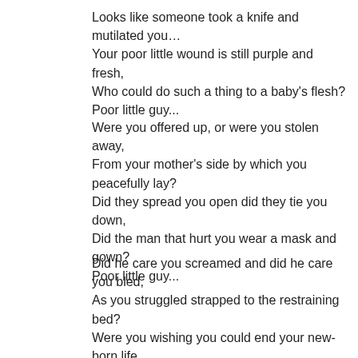Looks like someone took a knife and mutilated you…
Your poor little wound is still purple and fresh,
Who could do such a thing to a baby's flesh?
Poor little guy...
Were you offered up, or were you stolen away,
From your mother's side by which you peacefully lay?
Did they spread you open did they tie you down,
Did the man that hurt you wear a mask and gown?
Poor little guy...
Did he care you screamed and did he care you bled,
As you struggled strapped to the restraining bed?
Were you wishing you could end your new-born life,
As you felt the cold sear from a steely knife?
Poor little guy...